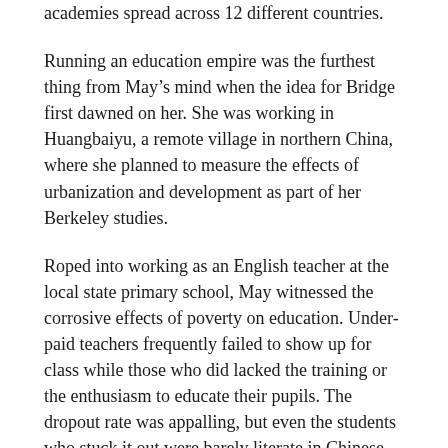academies spread across 12 different countries.
Running an education empire was the furthest thing from May’s mind when the idea for Bridge first dawned on her. She was working in Huangbaiyu, a remote village in northern China, where she planned to measure the effects of urbanization and development as part of her Berkeley studies.
Roped into working as an English teacher at the local state primary school, May witnessed the corrosive effects of poverty on education. Under-paid teachers frequently failed to show up for class while those who did lacked the training or the enthusiasm to educate their pupils. The dropout rate was appalling, but even the students who stuck it out were barely literate in Chinese, let alone English.
“They weren’t happy about being teachers and they didn’t embrace their role of being a really critical person in this child’s life who can kind of make or break whether they